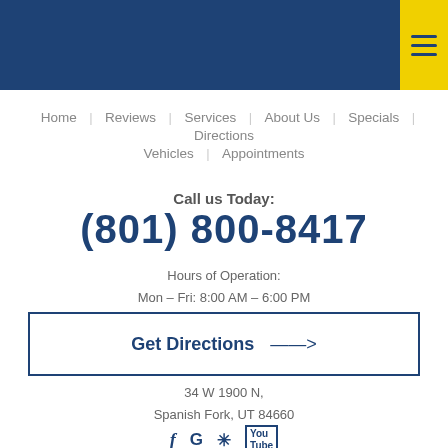[Figure (screenshot): Dark blue navigation header bar with yellow hamburger menu button on top right]
Home | Reviews | Services | About Us | Specials | Directions | Vehicles | Appointments
Call us Today:
(801) 800-8417
Hours of Operation:
Mon – Fri: 8:00 AM – 6:00 PM
Get Directions →
34 W 1900 N,
Spanish Fork, UT 84660
[Figure (other): Social media icons: Facebook, Google, Yelp, YouTube]